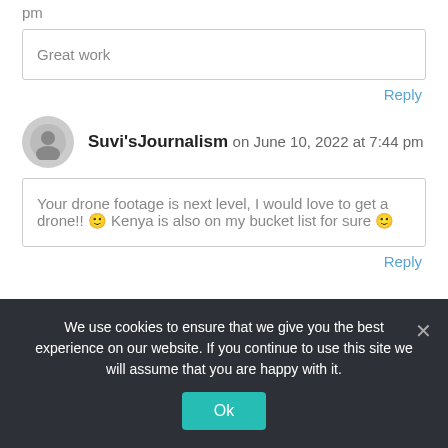pm
Great work
Reply
Suvi'sJournalism on June 10, 2022 at 7:44 pm
Your drone footage is next level, I would love to get a drone!! 🙂 Kenya is also on my bucket list for sure 🙂
Reply
We use cookies to ensure that we give you the best experience on our website. If you continue to use this site we will assume that you are happy with it.